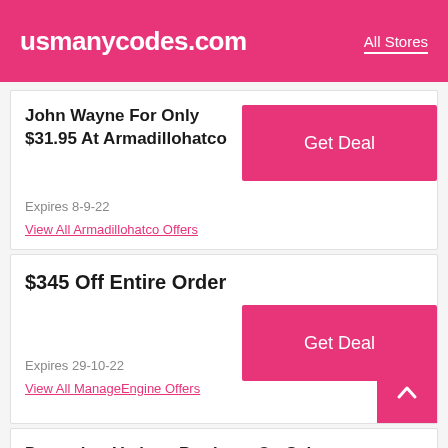usmanycodes.com | All Stores
John Wayne For Only $31.95 At Armadillohatco
Expires 8-9-22
View All Armadillohatco Offers
$345 Off Entire Order
Expires 29-10-22
View All ManageEngine Offers
December:Various Products On Sale Atgiftguys.com Giftguys.com